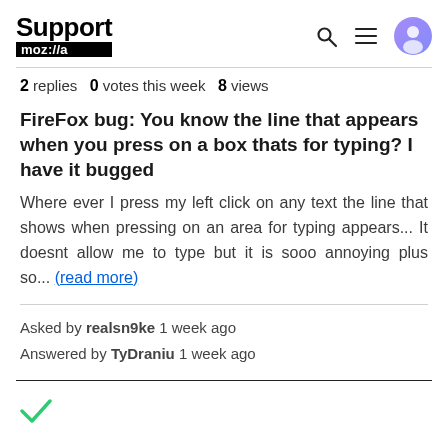Support moz://a
2 replies  0 votes this week  8 views
FireFox bug: You know the line that appears when you press on a box thats for typing? I have it bugged
Where ever I press my left click on any text the line that shows when pressing on an area for typing appears... It doesnt allow me to type but it is sooo annoying plus so... (read more)
Asked by realsn9ke 1 week ago
Answered by TyDraniu 1 week ago